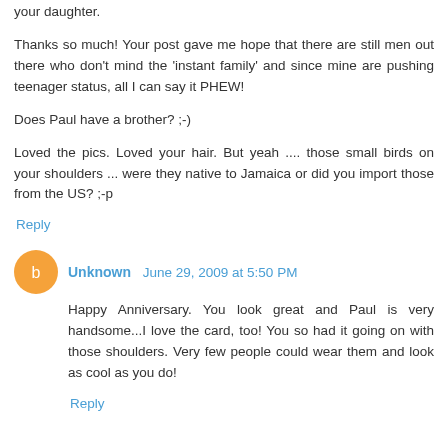your daughter.
Thanks so much! Your post gave me hope that there are still men out there who don't mind the 'instant family' and since mine are pushing teenager status, all I can say it PHEW!
Does Paul have a brother? ;-)
Loved the pics. Loved your hair. But yeah .... those small birds on your shoulders ... were they native to Jamaica or did you import those from the US? ;-p
Reply
Unknown  June 29, 2009 at 5:50 PM
Happy Anniversary. You look great and Paul is very handsome...I love the card, too! You so had it going on with those shoulders. Very few people could wear them and look as cool as you do!
Reply